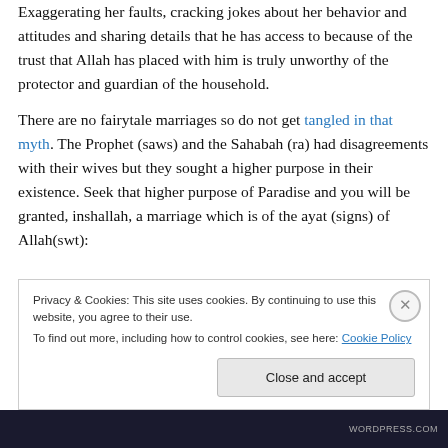Exaggerating her faults, cracking jokes about her behavior and attitudes and sharing details that he has access to because of the trust that Allah has placed with him is truly unworthy of the protector and guardian of the household.
There are no fairytale marriages so do not get tangled in that myth. The Prophet (saws) and the Sahabah (ra) had disagreements with their wives but they sought a higher purpose in their existence. Seek that higher purpose of Paradise and you will be granted, inshallah, a marriage which is of the ayat (signs) of Allah(swt):
Privacy & Cookies: This site uses cookies. By continuing to use this website, you agree to their use. To find out more, including how to control cookies, see here: Cookie Policy
WORDPRESS.COM